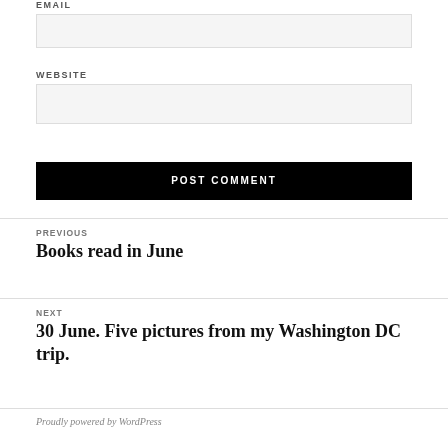EMAIL
WEBSITE
POST COMMENT
PREVIOUS
Books read in June
NEXT
30 June. Five pictures from my Washington DC trip.
Proudly powered by WordPress